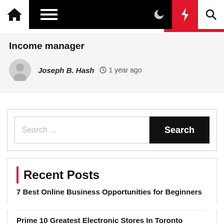Navigation bar with home, menu, moon, lightning, and search icons
Income manager
Joseph B. Hash  1 year ago
Search ...
Recent Posts
7 Best Online Business Opportunities for Beginners
Prime 10 Greatest Electronic Stores In Toronto